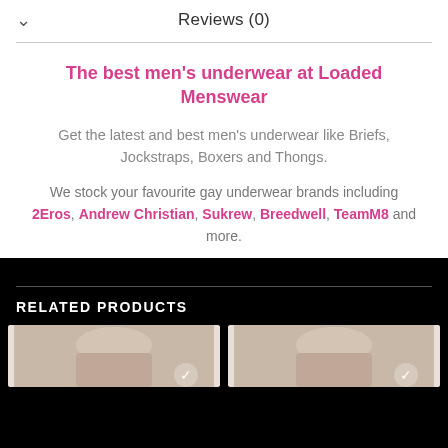Reviews (0)
The best men's underwear at Loaded Menswear
Get the latest and best men's underwear like Briefs, Jockstraps, Boxers and Thongs.
We stock your favourite gay underwear brands including 2Eros, Andrew Christian, Sukrew, Breedwell, TeamM8 and more.
RELATED PRODUCTS
[Figure (photo): Two product thumbnail images of men's underwear on dark background]